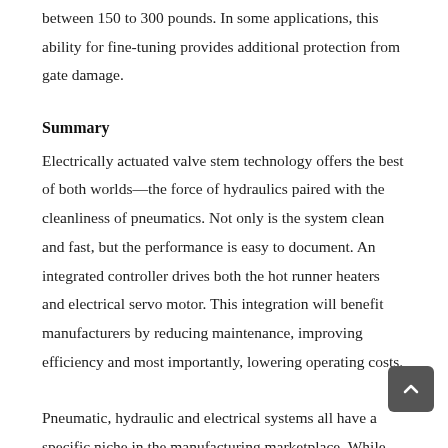between 150 to 300 pounds. In some applications, this ability for fine-tuning provides additional protection from gate damage.
Summary
Electrically actuated valve stem technology offers the best of both worlds—the force of hydraulics paired with the cleanliness of pneumatics. Not only is the system clean and fast, but the performance is easy to document. An integrated controller drives both the hot runner heaters and electrical servo motor. This integration will benefit manufacturers by reducing maintenance, improving efficiency and most importantly, lowering operating costs.
Pneumatic, hydraulic and electrical systems all have a specific niche in the manufacturing marketplace. While electrical synchronized valve stem actuation is an ideal technology for medical applications, the system can be applied to virtually any application.